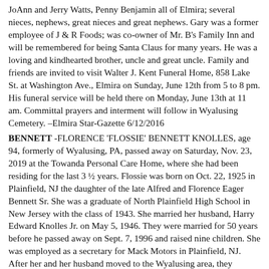JoAnn and Jerry Watts, Penny Benjamin all of Elmira; several nieces, nephews, great nieces and great nephews. Gary was a former employee of J & R Foods; was co-owner of Mr. B's Family Inn and will be remembered for being Santa Claus for many years. He was a loving and kindhearted brother, uncle and great uncle. Family and friends are invited to visit Walter J. Kent Funeral Home, 858 Lake St. at Washington Ave., Elmira on Sunday, June 12th from 5 to 8 pm. His funeral service will be held there on Monday, June 13th at 11 am. Committal prayers and interment will follow in Wyalusing Cemetery. –Elmira Star-Gazette 6/12/2016
BENNETT -FLORENCE 'FLOSSIE' BENNETT KNOLLES, age 94, formerly of Wyalusing, PA, passed away on Saturday, Nov. 23, 2019 at the Towanda Personal Care Home, where she had been residing for the last 3 ½ years. Flossie was born on Oct. 22, 1925 in Plainfield, NJ the daughter of the late Alfred and Florence Eager Bennett Sr. She was a graduate of North Plainfield High School in New Jersey with the class of 1943. She married her husband, Harry Edward Knolles Jr. on May 5, 1946. They were married for 50 years before he passed away on Sept. 7, 1996 and raised nine children. She was employed as a secretary for Mack Motors in Plainfield, NJ. After her and her husband moved to the Wyalusing area, they opened Mountainside Lanes in March of 1963. Flossie was a member of the American Legion Auxiliary Unit 534 in Wyalusing where she organized numerous dinners for many years. She was a former member of the Wyalusing Lioness Club. She